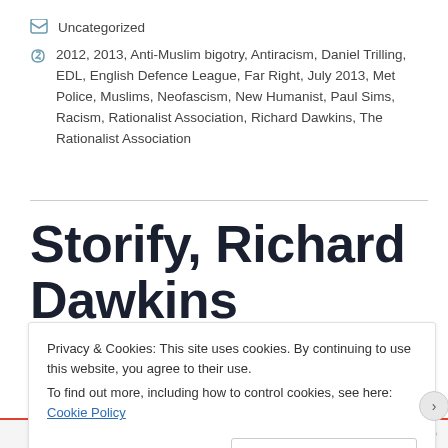Uncategorized
2012, 2013, Anti-Muslim bigotry, Antiracism, Daniel Trilling, EDL, English Defence League, Far Right, July 2013, Met Police, Muslims, Neofascism, New Humanist, Paul Sims, Racism, Rationalist Association, Richard Dawkins, The Rationalist Association
Storify, Richard Dawkins Problem With Muslims
Privacy & Cookies: This site uses cookies. By continuing to use this website, you agree to their use. To find out more, including how to control cookies, see here: Cookie Policy
Close and accept